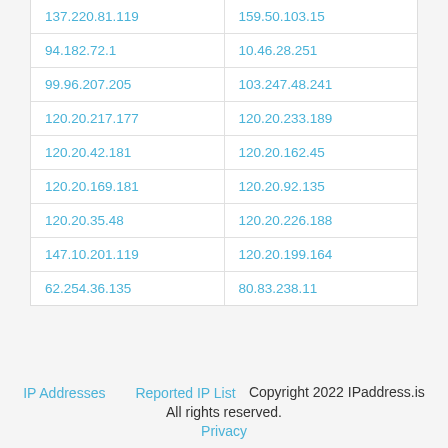| 137.220.81.119 | 159.50.103.15 |
| 94.182.72.1 | 10.46.28.251 |
| 99.96.207.205 | 103.247.48.241 |
| 120.20.217.177 | 120.20.233.189 |
| 120.20.42.181 | 120.20.162.45 |
| 120.20.169.181 | 120.20.92.135 |
| 120.20.35.48 | 120.20.226.188 |
| 147.10.201.119 | 120.20.199.164 |
| 62.254.36.135 | 80.83.238.11 |
IP Addresses   Reported IP List   Copyright 2022 IPaddress.is All rights reserved. Privacy